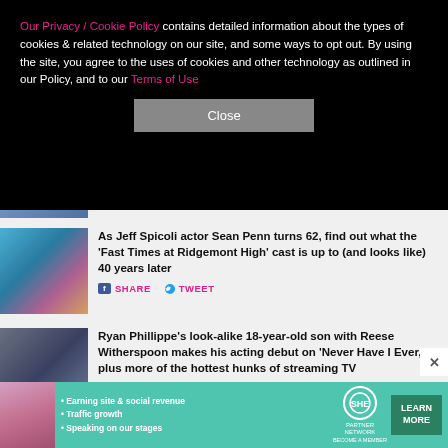Our Privacy / Cookie Policy contains detailed information about the types of cookies & related technology on our site, and some ways to opt out. By using the site, you agree to the uses of cookies and other technology as outlined in our Policy, and to our Terms of Use
Close
As Jeff Spicoli actor Sean Penn turns 62, find out what the 'Fast Times at Ridgemont High' cast is up to (and looks like) 40 years later
SHARE   TWEET
Ryan Phillippe's look-alike 18-year-old son with Reese Witherspoon makes his acting debut on 'Never Have I Ever,' plus more of the hottest hunks of streaming TV
SHARE   TWEET
[Figure (screenshot): SHE Partner Network advertisement banner with person, bullet points about earning site revenue, traffic growth, speaking on stages, SHE logo, and LEARN MORE button]